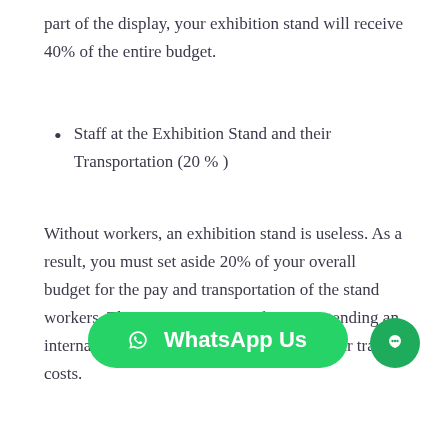part of the display, your exhibition stand will receive 40% of the entire budget.
Staff at the Exhibition Stand and their Transportation (20 % )
Without workers, an exhibition stand is useless. As a result, you must set aside 20% of your overall budget for the pay and transportation of the stand workers. This percentage rises if you're attending an international trade fair, which will boost your travel costs.
Services for Trade Shows (19 %)
Any excellent exhibition booth contractor would charge a [WhatsApp Us button overlaid] ...es since they provide you with a team of professionals who give skilled services ranging from